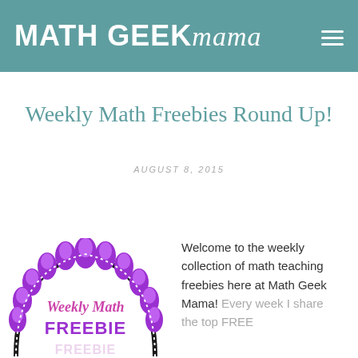MATH GEEK mama
Weekly Math Freebies Round Up!
AUGUST 8, 2015
[Figure (illustration): Weekly Math Freebie Round Up logo with purple decorative arch and FREEBIE text]
Welcome to the weekly collection of math teaching freebies here at Math Geek Mama! Every week I share the top FREE...